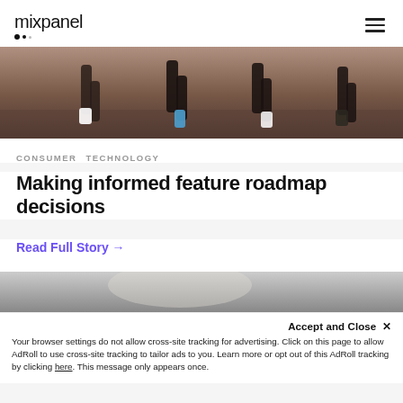mixpanel
[Figure (photo): Cropped photo of runners' legs on a dirt/gravel path, wearing athletic shorts and running shoes]
CONSUMER  TECHNOLOGY
Making informed feature roadmap decisions
Read Full Story →
[Figure (photo): Partially visible photo below, appears to show a person or device in grayscale]
Accept and Close ✕
Your browser settings do not allow cross-site tracking for advertising. Click on this page to allow AdRoll to use cross-site tracking to tailor ads to you. Learn more or opt out of this AdRoll tracking by clicking here. This message only appears once.